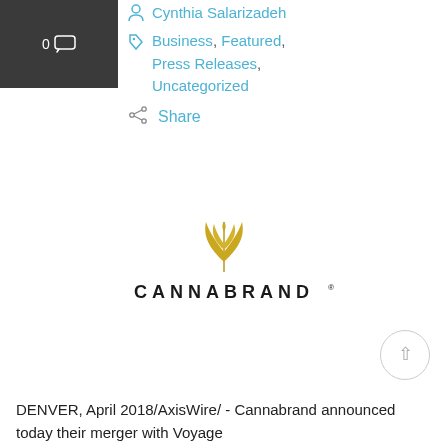[Figure (other): Dark gray rectangle with comment bubble icon showing '0' count]
Cynthia Salarizadeh
Business, Featured, Press Releases, Uncategorized
Share
[Figure (logo): Cannabrand logo: golden cannabis leaf above the word CANNABRAND in bold sans-serif letters]
DENVER, April 2018/AxisWire/ - Cannabrand announced today their merger with Voyage